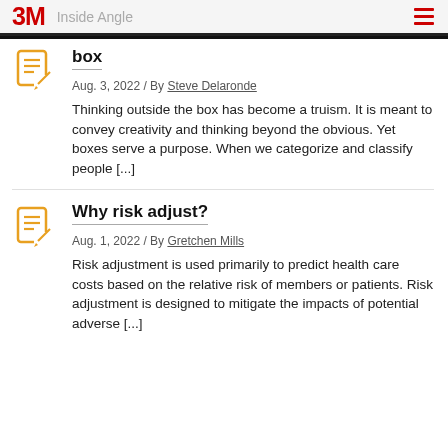3M Inside Angle
box
Aug. 3, 2022 / By Steve Delaronde
Thinking outside the box has become a truism. It is meant to convey creativity and thinking beyond the obvious. Yet boxes serve a purpose. When we categorize and classify people [...]
Why risk adjust?
Aug. 1, 2022 / By Gretchen Mills
Risk adjustment is used primarily to predict health care costs based on the relative risk of members or patients. Risk adjustment is designed to mitigate the impacts of potential adverse [...]